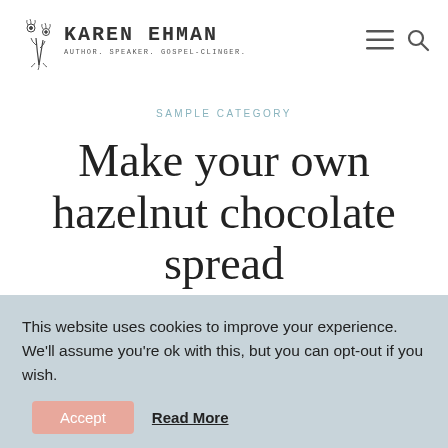[Figure (logo): Karen Ehman website logo with floral illustration, name in bold monospace, tagline AUTHOR. SPEAKER. GOSPEL-CLINGER.]
[Figure (infographic): Navigation icons: hamburger menu and search icon]
SAMPLE CATEGORY
Make your own hazelnut chocolate spread
This website uses cookies to improve your experience. We'll assume you're ok with this, but you can opt-out if you wish.
Accept  Read More